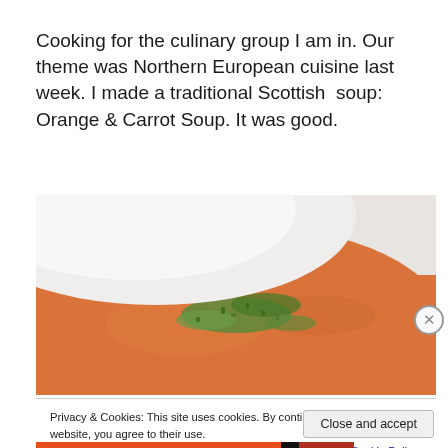Cooking for the culinary group I am in. Our theme was Northern European cuisine last week. I made a traditional Scottish  soup: Orange & Carrot Soup. It was good.
[Figure (photo): A white bowl filled with smooth orange carrot soup garnished with chopped green herbs, photographed from above at an angle.]
Privacy & Cookies: This site uses cookies. By continuing to use this website, you agree to their use.
To find out more, including how to control cookies, see here: Cookie Policy
Close and accept